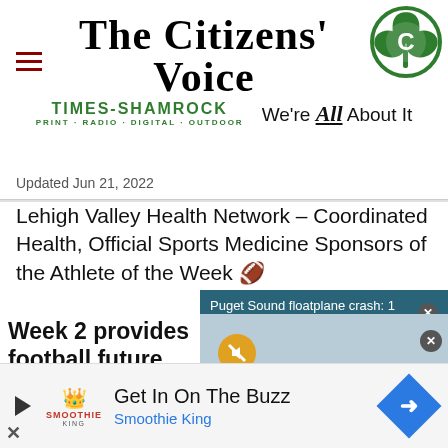The Citizens' Voice
TIMES-SHAMROCK PRINT · RADIO · DIGITAL · OUTDOOR — We're All About It
Updated Jun 21, 2022
Lehigh Valley Health Network – Coordinated Health, Official Sports Medicine Sponsors of the Athlete of the Week 🏈
Puget Sound floatplane crash: 1 dead, 9...
Week 2 provides football future
RailRiders ride fo... into key series wi...
[Figure (photo): Coast Guard boat at a dock on Puget Sound, part of floatplane crash coverage video]
Get In On The Buzz
Smoothie King